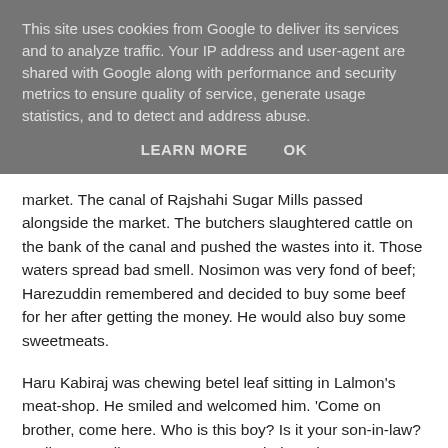This site uses cookies from Google to deliver its services and to analyze traffic. Your IP address and user-agent are shared with Google along with performance and security metrics to ensure quality of service, generate usage statistics, and to detect and address abuse.
LEARN MORE    OK
market. The canal of Rajshahi Sugar Mills passed alongside the market. The butchers slaughtered cattle on the bank of the canal and pushed the wastes into it. Those waters spread bad smell. Nosimon was very fond of beef; Harezuddin remembered and decided to buy some beef for her after getting the money. He would also buy some sweetmeats.
Haru Kabiraj was chewing betel leaf sitting in Lalmon's meat-shop. He smiled and welcomed him. 'Come on brother, come here. Who is this boy? Is it your son-in-law? Well, very well. Come on my son, sit down here.'